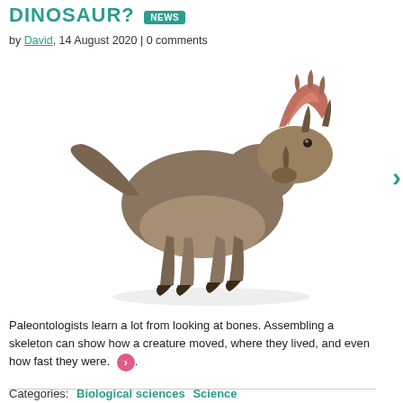DINOSAUR? NEWS
by David, 14 August 2020 | 0 comments
[Figure (illustration): 3D rendered illustration of a Triceratops dinosaur with brown/grey coloring, horns, and frill, walking in a dynamic pose against a white background]
Paleontologists learn a lot from looking at bones. Assembling a skeleton can show how a creature moved, where they lived, and even how fast they were.
Categories: Biological sciences Science